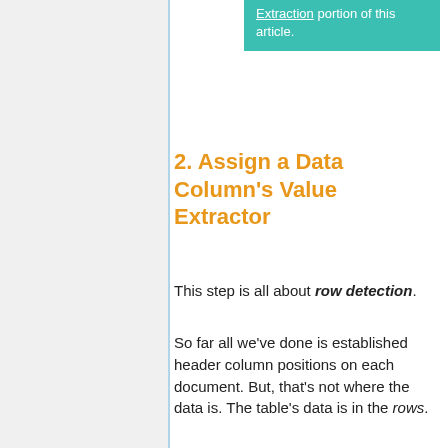[Figure (other): Teal/green box with text referencing 'Extraction' portion of this article]
2. Assign a Data Column's Value Extractor
This step is all about row detection.
So far all we've done is established header column positions on each document. But, that's not where the data is. The table's data is in the rows.
As it stands, Grooper doesn't know anything about the rows in the tables. It doesn't know the